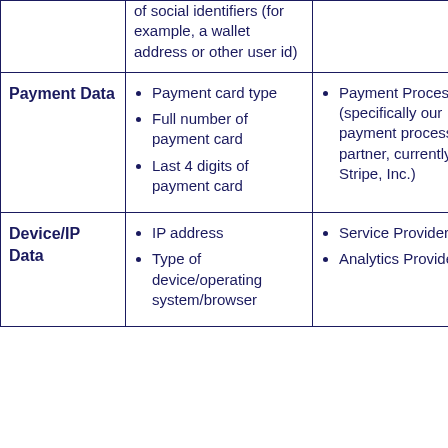| Category | Examples | Shared With |
| --- | --- | --- |
|  | of social identifiers (for example, a wallet address or other user id) |  |
| Payment Data | Payment card type
Full number of payment card
Last 4 digits of payment card | Payment Processor (specifically our payment processing partner, currently Stripe, Inc.) |
| Device/IP Data | IP address
Type of device/operating system/browser | Service Providers
Analytics Providers |